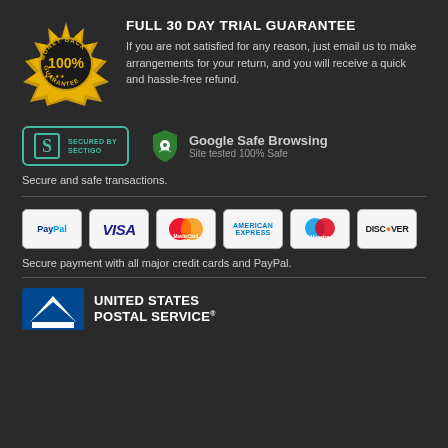[Figure (logo): Money Back 100% Guarantee gold seal badge]
FULL 30 DAY TRIAL GUARANTEE
If you are not satisfied for any reason, just email us to make arrangements for your return, and you will receive a quick and hassle-free refund.
[Figure (logo): Secured by Sectigo badge]
[Figure (logo): Google Safe Browsing - Site tested 100% Safe badge]
Secure and safe transactions.
[Figure (logo): PayPal payment logo]
[Figure (logo): VISA payment logo]
[Figure (logo): MasterCard payment logo]
[Figure (logo): American Express payment logo]
[Figure (logo): Maestro payment logo]
[Figure (logo): Discover payment logo]
Secure payment with all major credit cards and PayPal.
[Figure (logo): United States Postal Service logo]